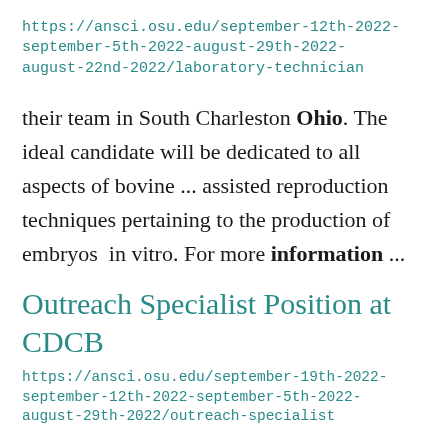https://ansci.osu.edu/september-12th-2022-september-5th-2022-august-29th-2022-august-22nd-2022/laboratory-technician
their team in South Charleston Ohio. The ideal candidate will be dedicated to all aspects of bovine ... assisted reproduction techniques pertaining to the production of embryos in vitro. For more information ...
Outreach Specialist Position at CDCB
https://ansci.osu.edu/september-19th-2022-september-12th-2022-september-5th-2022-august-29th-2022/outreach-specialist
position. For more information on the position, visit this website.    ...